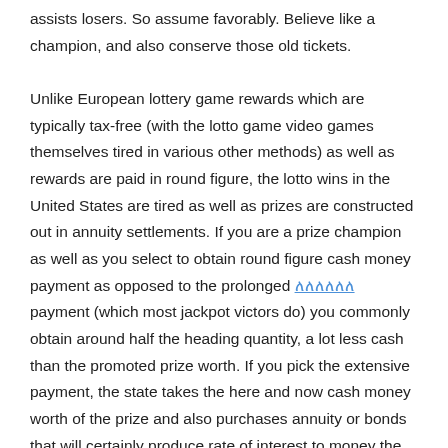assists losers. So assume favorably. Believe like a champion, and also conserve those old tickets.

Unlike European lottery game rewards which are typically tax-free (with the lotto game video games themselves tired in various other methods) as well as rewards are paid in round figure, the lotto wins in the United States are tired as well as prizes are constructed out in annuity settlements. If you are a prize champion as well as you select to obtain round figure cash money payment as opposed to the prolonged ፈፈፈፈፈፈ payment (which most jackpot victors do) you commonly obtain around half the heading quantity, a lot less cash than the promoted prize worth. If you pick the extensive payment, the state takes the here and now cash money worth of the prize and also purchases annuity or bonds that will certainly produce rate of interest to money the future settlements made at taken care of periods of time hence giving you with a stable stream of revenue for several years moving forward over a period of 25 to thirty years. For instance, if you won a $14 million prize in the multi-state